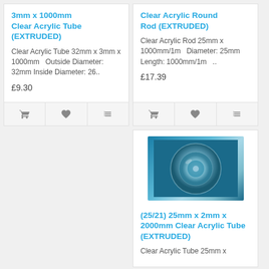3mm x 1000mm Clear Acrylic Tube (EXTRUDED)
Clear Acrylic Tube 32mm x 3mm x 1000mm   Outside Diameter: 32mm Inside Diameter: 26..
£9.30
Clear Acrylic Round Rod (EXTRUDED)
Clear Acrylic Rod 25mm x 1000mm/1m   Diameter: 25mm Length: 1000mm/1m   ..
£17.39
[Figure (photo): Photo of a clear acrylic tube end-on, showing circular cross-section, on a blue background]
(25/21) 25mm x 2mm x 2000mm Clear Acrylic Tube (EXTRUDED)
Clear Acrylic Tube 25mm x